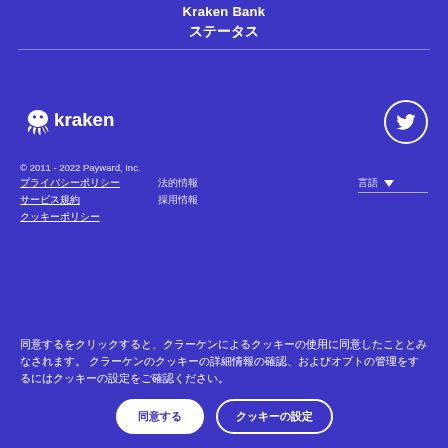Kraken Bank
ステータス
[Figure (logo): Kraken logo with octopus icon and 'kraken' wordmark in white]
[Figure (logo): Twitter bird icon in a white circle]
© 2011 - 2022 Payward, Inc.
プライバシーポリシー
サービス規約
クッキーポリシー
法的情報
採用情報
言語 ▾
同意するをクリックすると、クラーケンによるクッキーの使用に同意したこととみなされます。 クラーケンのクッキーの詳細情報の確認、およびオプトの管理をするにはクッキーの設定をご確認ください。
同意する
クッキーの設定